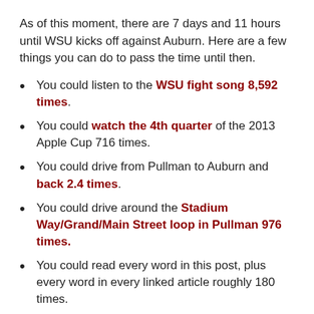As of this moment, there are 7 days and 11 hours until WSU kicks off against Auburn. Here are a few things you can do to pass the time until then.
You could listen to the WSU fight song 8,592 times.
You could watch the 4th quarter of the 2013 Apple Cup 716 times.
You could drive from Pullman to Auburn and back 2.4 times.
You could drive around the Stadium Way/Grand/Main Street loop in Pullman 976 times.
You could read every word in this post, plus every word in every linked article roughly 180 times.